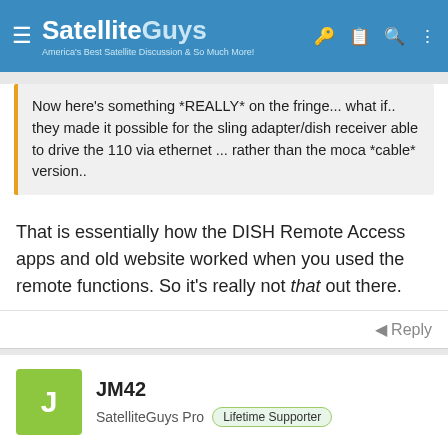SatelliteGuys — America's Best Satellite Discussion & So Much More!
Now here's something *REALLY* on the fringe... what if.. they made it possible for the sling adapter/dish receiver able to drive the 110 via ethernet ... rather than the moca *cable* version..
That is essentially how the DISH Remote Access apps and old website worked when you used the remote functions. So it's really not that out there.
Reply
JM42
SatelliteGuys Pro  Lifetime Supporter
Nov 3, 2011  #497